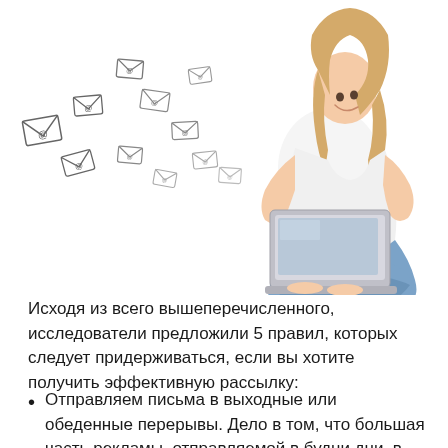[Figure (illustration): A young woman sitting cross-legged working on a laptop, with multiple email envelope icons with @ symbols flying from left toward the laptop, against a white background.]
Исходя из всего вышеперечисленного, исследователи предложили 5 правил, которых следует придерживаться, если вы хотите получить эффективную рассылку:
Отправляем письма в выходные или обеденные перерывы. Дело в том, что большая часть рекламы, отправляемой в будни дни в рабочее время, теряется среди